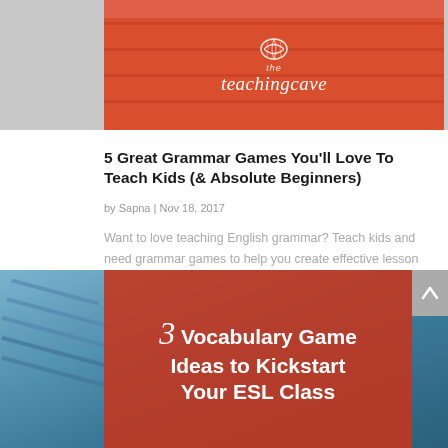[Figure (photo): Red/orange banner with 'the teaching cave' logo and shell icon on a coral/red background]
5 Great Grammar Games You'll Love To Teach Kids (& Absolute Beginners)
by Sapna | Nov 18, 2017
Want to love teaching English grammar? Teach kids and need grammar games to help you create effective lesson plans? Check out 5 Tips that are great for kids and absolute beginner adults, too!
[Figure (photo): Red overlay banner with bold white text reading '3 Vocabulary Game Ideas to Kickstart Your ESL Class' with decorative italic '3' numeral, over a blue background photo]